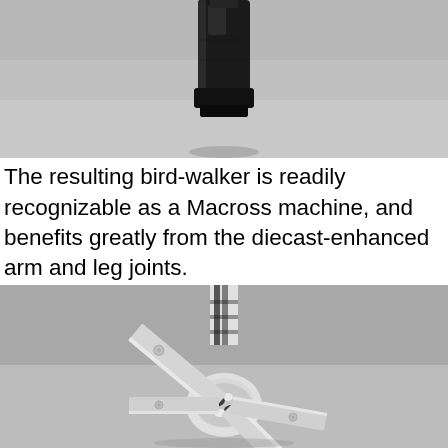[Figure (photo): Close-up photograph of a dark black cylindrical or leg piece of a Macross bird-walker mecha figure, shot against a grey surface background.]
The resulting bird-walker is readily recognizable as a Macross machine, and benefits greatly from the diecast-enhanced arm and leg joints.
[Figure (photo): Close-up photograph of white and black mecha bird-walker feet/leg joints of a Macross figure, showing spread claw-like appendages on a grey surface.]